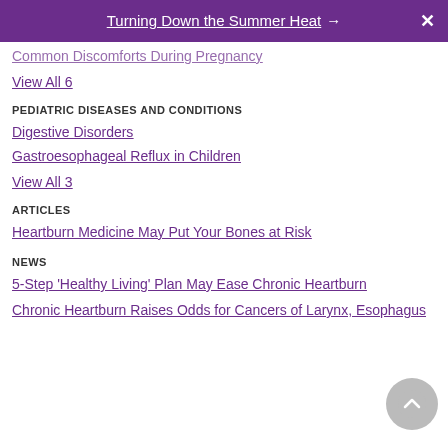Turning Down the Summer Heat →
Common Discomforts During Pregnancy
View All 6
PEDIATRIC DISEASES AND CONDITIONS
Digestive Disorders
Gastroesophageal Reflux in Children
View All 3
ARTICLES
Heartburn Medicine May Put Your Bones at Risk
NEWS
5-Step 'Healthy Living' Plan May Ease Chronic Heartburn
Chronic Heartburn Raises Odds for Cancers of Larynx, Esophagus